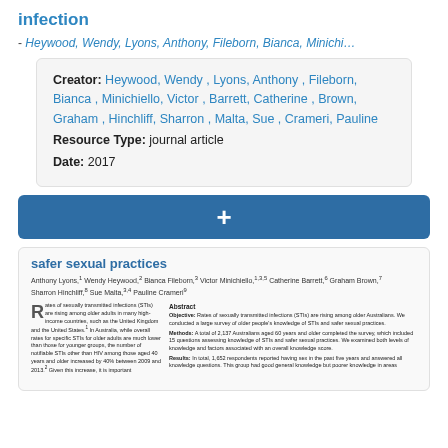infection
- Heywood, Wendy, Lyons, Anthony, Fileborn, Bianca, Minichi…
| Field | Value |
| --- | --- |
| Creator: | Heywood, Wendy , Lyons, Anthony , Fileborn, Bianca , Minichiello, Victor , Barrett, Catherine , Brown, Graham , Hinchliff, Sharron , Malta, Sue , Crameri, Pauline |
| Resource Type: | journal article |
| Date: | 2017 |
[Figure (other): Blue button bar with a white plus sign (+) in the center]
[Figure (screenshot): Preview thumbnail of a journal article page showing title 'safer sexual practices', authors Anthony Lyons, Wendy Heywood, Bianca Fileborn, Victor Minichiello, Catherine Barrett, Graham Brown, Sharron Hinchliff, Sue Malta, Pauline Crameri, with a two-column layout showing abstract text and body text.]